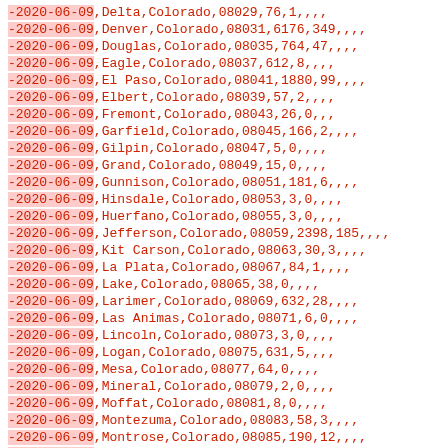-2020-06-09,Delta,Colorado,08029,76,1,,,,
-2020-06-09,Denver,Colorado,08031,6176,349,,,,
-2020-06-09,Douglas,Colorado,08035,764,47,,,,
-2020-06-09,Eagle,Colorado,08037,612,8,,,,
-2020-06-09,El Paso,Colorado,08041,1880,99,,,,
-2020-06-09,Elbert,Colorado,08039,57,2,,,,
-2020-06-09,Fremont,Colorado,08043,26,0,,,
-2020-06-09,Garfield,Colorado,08045,166,2,,,,
-2020-06-09,Gilpin,Colorado,08047,5,0,,,,
-2020-06-09,Grand,Colorado,08049,15,0,,,,
-2020-06-09,Gunnison,Colorado,08051,181,6,,,,
-2020-06-09,Hinsdale,Colorado,08053,3,0,,,,
-2020-06-09,Huerfano,Colorado,08055,3,0,,,,
-2020-06-09,Jefferson,Colorado,08059,2398,185,,,,
-2020-06-09,Kit Carson,Colorado,08063,30,3,,,,
-2020-06-09,La Plata,Colorado,08067,84,1,,,,
-2020-06-09,Lake,Colorado,08065,38,0,,,,
-2020-06-09,Larimer,Colorado,08069,632,28,,,,
-2020-06-09,Las Animas,Colorado,08071,6,0,,,,
-2020-06-09,Lincoln,Colorado,08073,3,0,,,,
-2020-06-09,Logan,Colorado,08075,631,5,,,,
-2020-06-09,Mesa,Colorado,08077,64,0,,,,
-2020-06-09,Mineral,Colorado,08079,2,0,,,,
-2020-06-09,Moffat,Colorado,08081,8,0,,,,
-2020-06-09,Montezuma,Colorado,08083,58,3,,,,
-2020-06-09,Montrose,Colorado,08085,190,12,,,,
-2020-06-09,Morgan,Colorado,08087,644,45,,,,
-2020-06-09,Otero,Colorado,08089,22,1,,,,
-2020-06-09,Ouray,Colorado,08091,8,1,,,,
-2020-06-09,Park,Colorado,08093,23,0,,,,
-2020-06-09,Phillips,Colorado,08095,15,0,,,,
-2020-06-09,Pitkin,Colorado,08097,62,2,,,,
-2020-06-09,Prowers,Colorado,08099,44,0